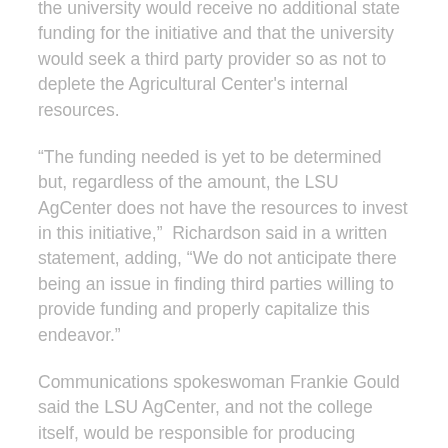the university would receive no additional state funding for the initiative and that the university would seek a third party provider so as not to deplete the Agricultural Center's internal resources.
“The funding needed is yet to be determined but, regardless of the amount, the LSU AgCenter does not have the resources to invest in this initiative,” Richardson said in a written statement, adding, “We do not anticipate there being an issue in finding third parties willing to provide funding and properly capitalize this endeavor.”
Communications spokeswoman Frankie Gould said the LSU AgCenter, and not the college itself, would be responsible for producing medical grade